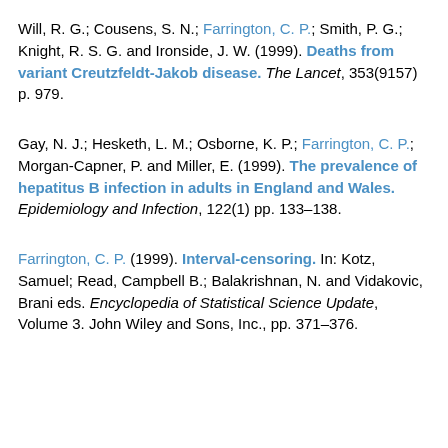Will, R. G.; Cousens, S. N.; Farrington, C. P.; Smith, P. G.; Knight, R. S. G. and Ironside, J. W. (1999). Deaths from variant Creutzfeldt-Jakob disease. The Lancet, 353(9157) p. 979.
Gay, N. J.; Hesketh, L. M.; Osborne, K. P.; Farrington, C. P.; Morgan-Capner, P. and Miller, E. (1999). The prevalence of hepatitus B infection in adults in England and Wales. Epidemiology and Infection, 122(1) pp. 133–138.
Farrington, C. P. (1999). Interval-censoring. In: Kotz, Samuel; Read, Campbell B.; Balakrishnan, N. and Vidakovic, Brani eds. Encyclopedia of Statistical Science Update, Volume 3. John Wiley and Sons, Inc., pp. 371–376.